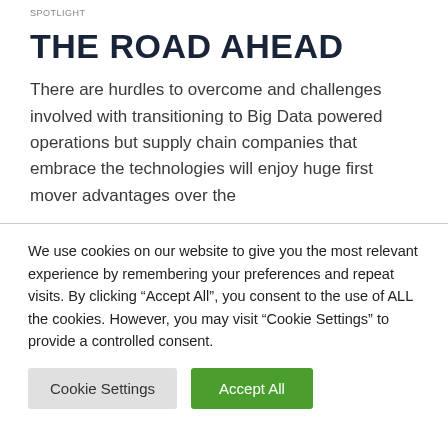SPOTLIGHT
THE ROAD AHEAD
There are hurdles to overcome and challenges involved with transitioning to Big Data powered operations but supply chain companies that embrace the technologies will enjoy huge first mover advantages over the
We use cookies on our website to give you the most relevant experience by remembering your preferences and repeat visits. By clicking “Accept All”, you consent to the use of ALL the cookies. However, you may visit “Cookie Settings” to provide a controlled consent.
Cookie Settings | Accept All